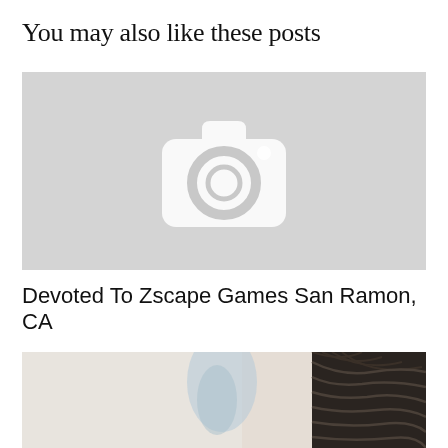You may also like these posts
[Figure (photo): Placeholder image with camera icon on grey background]
Devoted To Zscape Games San Ramon, CA
[Figure (photo): Partial photo showing a person with wet dark hair being washed, blurred background with blue fan]